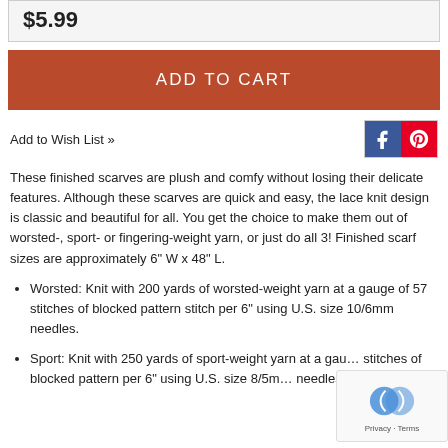$5.99
ADD TO CART
Add to Wish List »
These finished scarves are plush and comfy without losing their delicate features. Although these scarves are quick and easy, the lace knit design is classic and beautiful for all. You get the choice to make them out of worsted-, sport- or fingering-weight yarn, or just do all 3! Finished scarf sizes are approximately 6" W x 48" L.
Worsted: Knit with 200 yards of worsted-weight yarn at a gauge of 57 stitches of blocked pattern stitch per 6" using U.S. size 10/6mm needles.
Sport: Knit with 250 yards of sport-weight yarn at a gauge of stitches of blocked pattern per 6" using U.S. size 8/5mm needles.